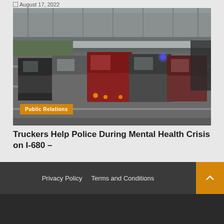August 17, 2022
[Figure (photo): Highway scene showing multiple trucks blocking lanes on I-680, with emergency lights visible. Large semi-trucks including red and dark colored rigs are aligned across the road, with an overpass structure in the background.]
Public Relations
Truckers Help Police During Mental Health Crisis on I-680 –
August 16, 2022
Privacy Policy   Terms and Conditions